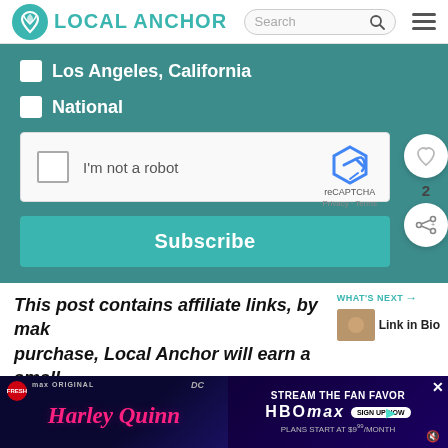LOCAL ANCHOR
[Figure (screenshot): Local Anchor website navigation bar with logo, search box, and hamburger menu]
[Figure (screenshot): Newsletter subscription form with teal background, checkboxes for Los Angeles California and National, reCAPTCHA widget, and Subscribe button]
This post contains affiliate links, by making a purchase, Local Anchor will earn a small commission with no additional cost to you.
[Figure (screenshot): Advertisement banner for Harley Quinn on HBO Max, streaming with sign up now button, plans start at $9.99/month]